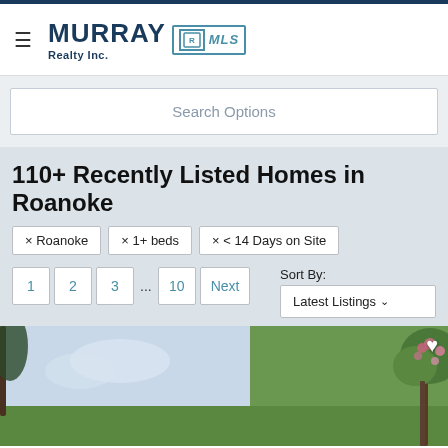Murray Realty Inc. MLS
Search Options
110+ Recently Listed Homes in Roanoke
× Roanoke
× 1+ beds
× < 14 Days on Site
1 2 3 ... 10 Next
Sort By: Latest Listings
[Figure (photo): Outdoor property photo showing green lawn and flowering tree with pink blossoms against a light sky background]